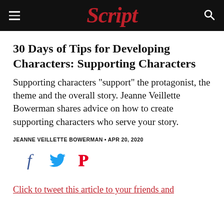Script
30 Days of Tips for Developing Characters: Supporting Characters
Supporting characters "support" the protagonist, the theme and the overall story. Jeanne Veillette Bowerman shares advice on how to create supporting characters who serve your story.
JEANNE VEILLETTE BOWERMAN • APR 20, 2020
[Figure (infographic): Social share icons: Facebook (f), Twitter (bird), Pinterest (P)]
Click to tweet this article to your friends and